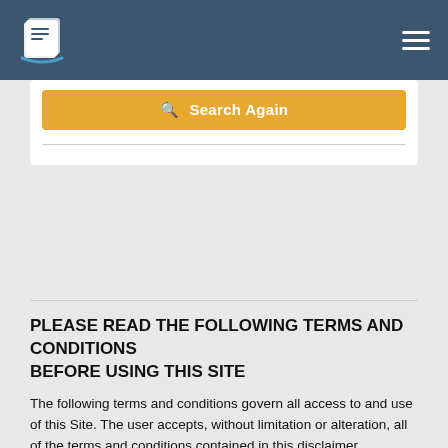Navigation header with logo and hamburger menu
[Figure (screenshot): Orange Search Again button inside a white card panel with a horizontal divider below it]
PLEASE READ THE FOLLOWING TERMS AND CONDITIONS BEFORE USING THIS SITE
The following terms and conditions govern all access to and use of this Site. The user accepts, without limitation or alteration, all of the terms and conditions contained in this disclaimer.
Check Illinois Access
Check Illinois (Record Information Services, Inc.) is a subsidiary of